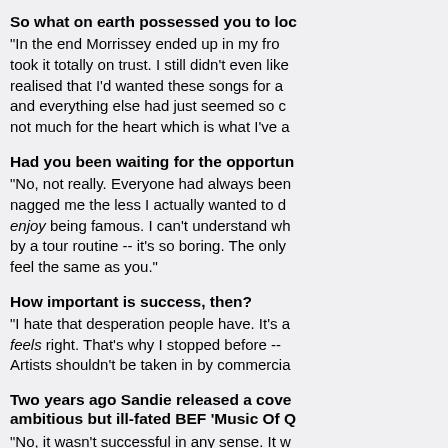So what on earth possessed you to lo...
"In the end Morrissey ended up in my fro... took it totally on trust. I still didn't even like... realised that I'd wanted these songs for a... and everything else had just seemed so c... not much for the heart which is what I've a...
Had you been waiting for the opportun...
"No, not really. Everyone had always been... nagged me the less I actually wanted to d... enjoy being famous. I can't understand wh... by a tour routine -- it's so boring. The only... feel the same as you."
How important is success, then?
"I hate that desperation people have. It's a... feels right. That's why I stopped before --... Artists shouldn't be taken in by commercia...
Two years ago Sandie released a cove... ambitious but ill-fated BEF 'Music Of Q...
"No, it wasn't successful in any sense. It w... artistic way. I was uncomfortable with BEF... done it I feel better."